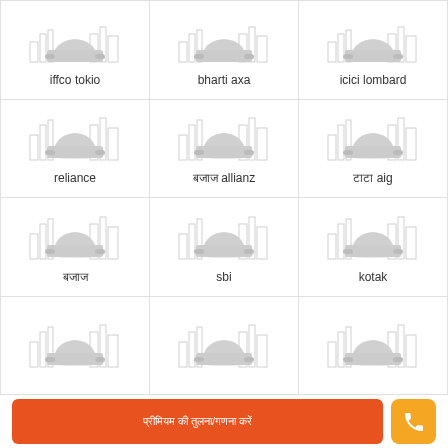[Figure (illustration): Grid of car insurance provider cards. Row 1: iffco tokio, bharti axa, icici lombard (partially visible, top cut off). Row 2: reliance, बजाज allianz, टाटा aig. Row 3: बजाज, sbi, kotak. Row 4: partially visible row (3 cards cut off at bottom). Each card shows a sedan car illustration with city skyline background.]
iffco tokio
bharti axa
icici lombard
reliance
बजाज allianz
टाटा aig
बजाज
sbi
kotak
प्रीमियम की तुलना/गणना करें
[Figure (illustration): Phone/call icon in white on orange rounded square button]